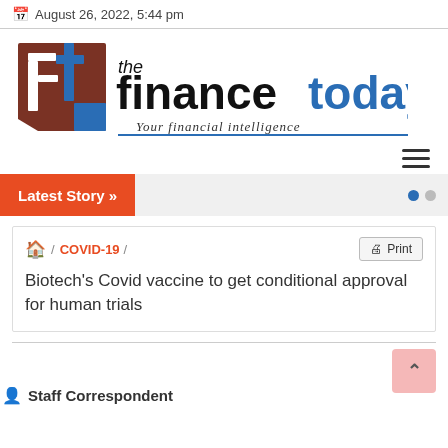August 26, 2022, 5:44 pm
[Figure (logo): The Finance Today logo — brown/red square icon with 'ft' letters, text 'the financetoday', tagline 'Your financial intelligence']
Latest Story »
🏠 / COVID-19 / Print
Biotech's Covid vaccine to get conditional approval for human trials
Staff Correspondent